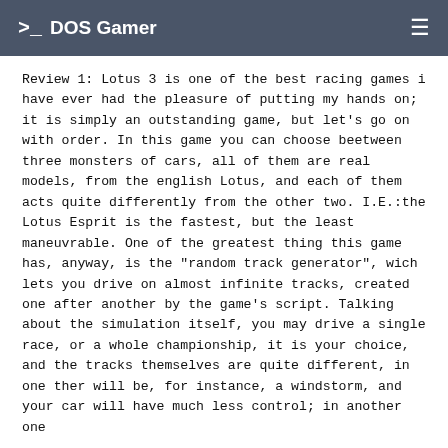>_ DOS Gamer ≡
Review 1: Lotus 3 is one of the best racing games i have ever had the pleasure of putting my hands on; it is simply an outstanding game, but let's go on with order. In this game you can choose beetween three monsters of cars, all of them are real models, from the english Lotus, and each of them acts quite differently from the other two. I.E.:the Lotus Esprit is the fastest, but the least maneuvrable. One of the greatest thing this game has, anyway, is the "random track generator", wich lets you drive on almost infinite tracks, created one after another by the game's script. Talking about the simulation itself, you may drive a single race, or a whole championship, it is your choice, and the tracks themselves are quite different, in one ther will be, for instance, a windstorm, and your car will have much less control; in another one